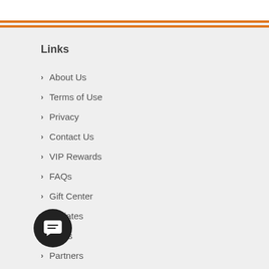Links
About Us
Terms of Use
Privacy
Contact Us
VIP Rewards
FAQs
Gift Center
Affiliates
Press
Partners
Reviews
Blog
Sitemap